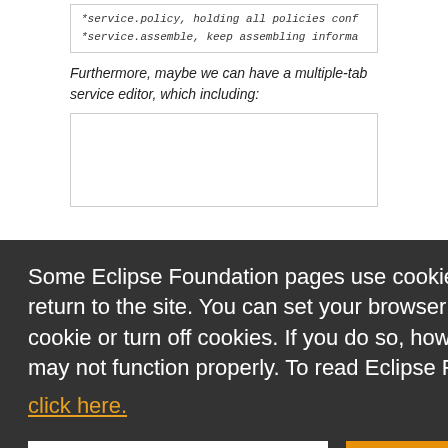*service.policy, holding all policies conf
*service.assemble, keep assembling informa
Furthermore, maybe we can have a multiple-tab service editor, which including:
Some Eclipse Foundation pages use cookies to better serve you when you return to the site. You can set your browser to notify you before you receive a cookie or turn off cookies. If you do so, however, some areas of some sites may not function properly. To read Eclipse Foundation Privacy Policy
click here.
Decline
Allow cookies
Due to the resource nature of the registry, we will